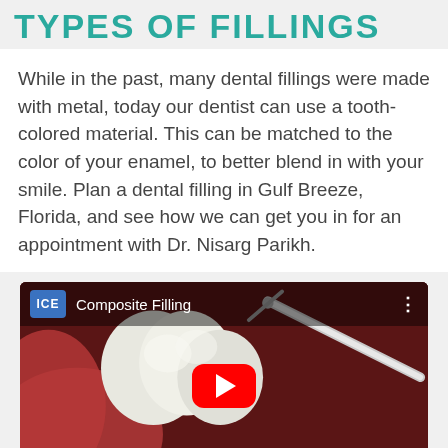TYPES OF FILLINGS
While in the past, many dental fillings were made with metal, today our dentist can use a tooth-colored material. This can be matched to the color of your enamel, to better blend in with your smile. Plan a dental filling in Gulf Breeze, Florida, and see how we can get you in for an appointment with Dr. Nisarg Parikh.
[Figure (screenshot): YouTube video thumbnail showing a dental composite filling animation. The video is titled 'Composite Filling' from the ICE channel. The thumbnail shows a close-up 3D render of teeth with a dental instrument. A red YouTube play button is visible in the center.]